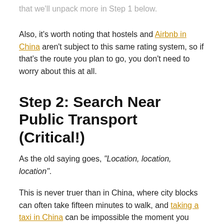that we'll unpack more in Step 1 below.
Also, it's worth noting that hostels and Airbnb in China aren't subject to this same rating system, so if that's the route you plan to go, you don't need to worry about this at all.
Step 2: Search Near Public Transport (Critical!)
As the old saying goes, "Location, location, location".
This is never truer than in China, where city blocks can often take fifteen minutes to walk, and taking a taxi in China can be impossible the moment you